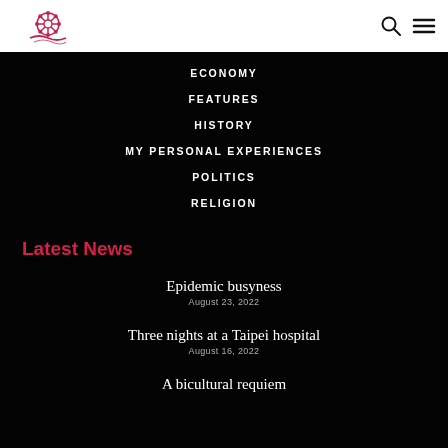Logo | Search | Menu
ECONOMY
FEATURES
HISTORY
MY PERSONAL EXPERIENCES
POLITICS
RELIGION
Latest News
Epidemic busyness
August 23, 2022
Three nights at a Taipei hospital
August 16, 2022
A bicultural requiem